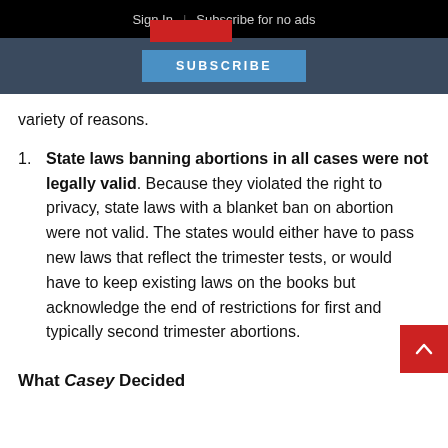Sign In | Subscribe for no ads
[Figure (screenshot): Navigation bar with SUBSCRIBE button on dark blue background]
variety of reasons.
State laws banning abortions in all cases were not legally valid. Because they violated the right to privacy, state laws with a blanket ban on abortion were not valid. The states would either have to pass new laws that reflect the trimester tests, or would have to keep existing laws on the books but acknowledge the end of restrictions for first and typically second trimester abortions.
What Casey Decided